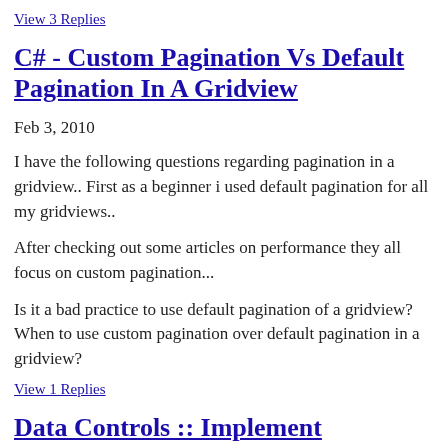View 3 Replies
C# - Custom Pagination Vs Default Pagination In A Gridview
Feb 3, 2010
I have the following questions regarding pagination in a gridview.. First as a beginner i used default pagination for all my gridviews..
After checking out some articles on performance they all focus on custom pagination...
Is it a bad practice to use default pagination of a gridview? When to use custom pagination over default pagination in a gridview?
View 1 Replies
Data Controls :: Implement Bootstrap Pagination In Gridview
Apr 27, 2016